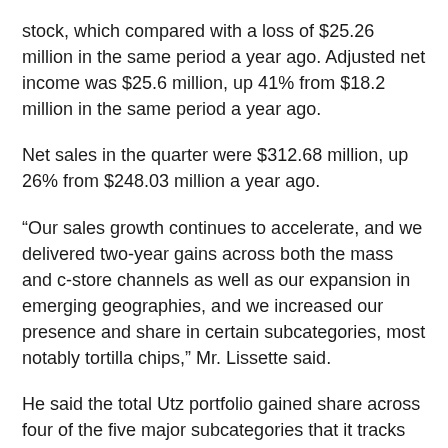stock, which compared with a loss of $25.26 million in the same period a year ago. Adjusted net income was $25.6 million, up 41% from $18.2 million in the same period a year ago.
Net sales in the quarter were $312.68 million, up 26% from $248.03 million a year ago.
“Our sales growth continues to accelerate, and we delivered two-year gains across both the mass and c-store channels as well as our expansion in emerging geographies, and we increased our presence and share in certain subcategories, most notably tortilla chips,” Mr. Lissette said.
He said the total Utz portfolio gained share across four of the five major subcategories that it tracks and gained share in salsa and queso as well.
“We continue to increase our presence in key salty stuff snack